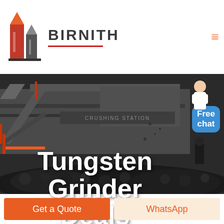BIRNITH
[Figure (photo): Industrial crushing station machinery with large conveyor belts and piles of crushed rock/coal in a dark dramatic scene]
Tungsten Grinder Deals
Free chat
Get a Quote
WhatsApp